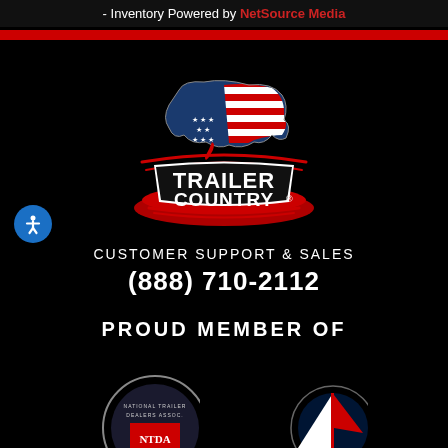- Inventory Powered by NetSource Media
[Figure (logo): Trailer Country logo with American flag shaped as USA map above bold red/white text reading TRAILER COUNTRY with registered trademark symbol, red swoosh design underneath]
CUSTOMER SUPPORT & SALES
(888) 710-2112
PROUD MEMBER OF
[Figure (logo): National Trailer Dealers Association circular badge logo (partially visible at bottom left)]
[Figure (logo): Another membership badge (partially visible at bottom right)]